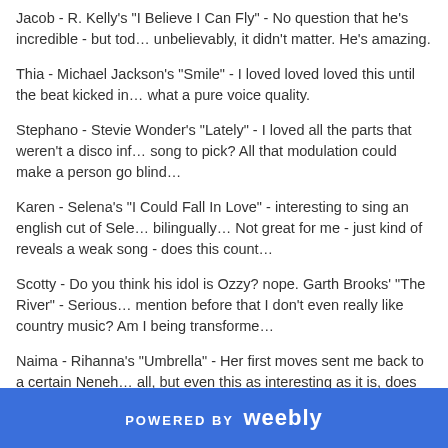Jacob - R. Kelly's "I Believe I Can Fly" - No question that he's incredible - but today, unbelievably, it didn't matter. He's amazing.
Thia - Michael Jackson's "Smile" - I loved loved loved this until the beat kicked in... what a pure voice quality.
Stephano - Stevie Wonder's "Lately" - I loved all the parts that weren't a disco inferno song to pick? All that modulation could make a person go blind…
Karen - Selena's "I Could Fall In Love" - interesting to sing an english cut of Selena bilingually… Not great for me - just kind of reveals a weak song - does this count...
Scotty - Do you think his idol is Ozzy? nope. Garth Brooks' "The River" - Serious... mention before that I don't even really like country music? Am I being transforme...
Naima - Rihanna's "Umbrella" - Her first moves sent me back to a certain Neneh... all, but even this as interesting as it is, does not even compare to the earlier grea... better when downloaded on iTunes.
Random notes:
POWERED BY weebly